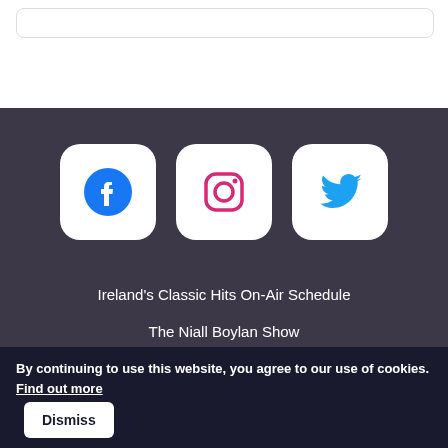[Figure (screenshot): Top white section with a rounded rectangle box outline]
[Figure (illustration): Social media icon buttons: Facebook (blue circle with f), Instagram (gradient pink/purple camera icon), Twitter (blue bird icon), each in white rounded square boxes on dark purple background]
Ireland's Classic Hits On-Air Schedule
The Niall Boylan Show
Damian Farrelly in the Afternoon
Our Playlist
By continuing to use this website, you agree to our use of cookies. Find out more  Dismiss